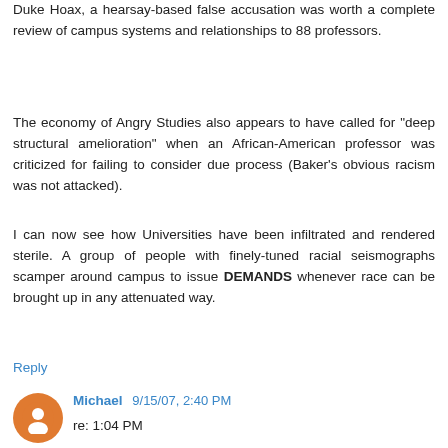Duke Hoax, a hearsay-based false accusation was worth a complete review of campus systems and relationships to 88 professors.
The economy of Angry Studies also appears to have called for "deep structural amelioration" when an African-American professor was criticized for failing to consider due process (Baker's obvious racism was not attacked).
I can now see how Universities have been infiltrated and rendered sterile. A group of people with finely-tuned racial seismographs scamper around campus to issue DEMANDS whenever race can be brought up in any attenuated way.
Reply
Michael  9/15/07, 2:40 PM
re: 1:04 PM
[Michael What you wrote about elegibility for a nursing license is just not true. No one state, etc. Read the rules